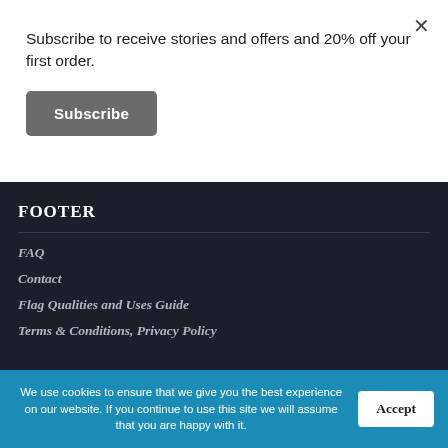Subscribe to receive stories and offers and 20% off your first order.
Subscribe
FOOTER
FAQ
Contact
Flag Qualities and Uses Guide
Terms & Conditions, Privacy Policy
We use cookies to ensure that we give you the best experience on our website. If you continue to use this site we will assume that you are happy with it.
Accept